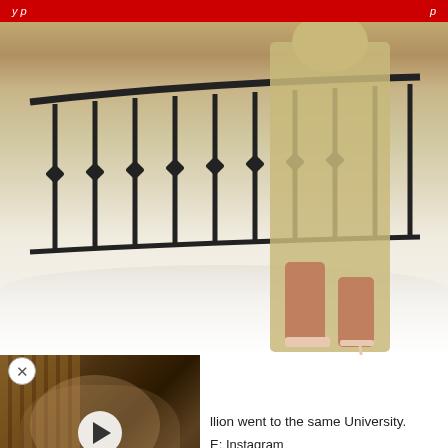[Figure (photo): Woman in beige/cream outfit standing on white marble staircase with ornate black iron railing, wearing strappy heels]
[Figure (screenshot): Video thumbnail showing a man making an exaggerated facial expression, with a WatchMojo logo badge in the corner and a play button overlay]
llion went to the same University.
E: Instagram